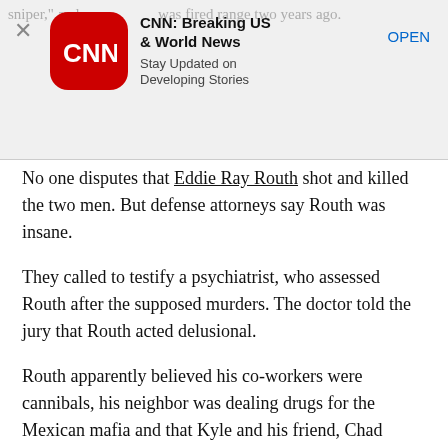[Figure (screenshot): CNN Breaking US & World News app advertisement banner with CNN logo, title, subtitle 'Stay Updated on Developing Stories', and OPEN button]
No one disputes that Eddie Ray Routh shot and killed the two men. But defense attorneys say Routh was insane.
They called to testify a psychiatrist, who assessed Routh after the supposed murders. The doctor told the jury that Routh acted delusional.
Routh apparently believed his co-workers were cannibals, his neighbor was dealing drugs for the Mexican mafia and that Kyle and his friend, Chad Littlefield, were “hybrid pig people,” Mitchell Dunn, the psychiatrist, testified.
“It is my opinion that he was suffering from a severe mental disorder and that the …